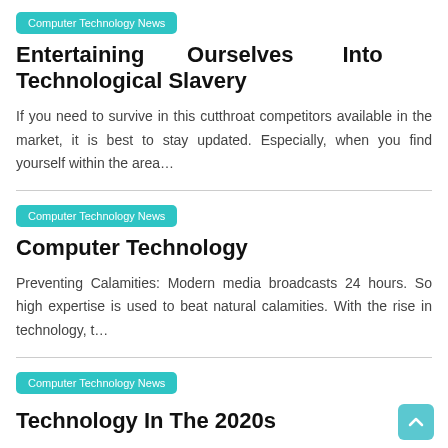Computer Technology News
Entertaining Ourselves Into Technological Slavery
If you need to survive in this cutthroat competitors available in the market, it is best to stay updated. Especially, when you find yourself within the area…
Computer Technology News
Computer Technology
Preventing Calamities: Modern media broadcasts 24 hours. So high expertise is used to beat natural calamities. With the rise in technology, t…
Computer Technology News
Technology In The 2020s